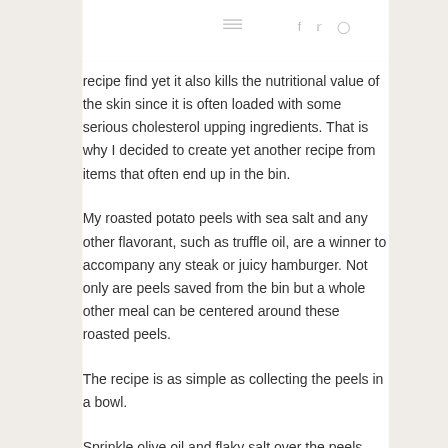≡   f  twitter  instagram
recipe find yet it also kills the nutritional value of the skin since it is often loaded with some serious cholesterol upping ingredients. That is why I decided to create yet another recipe from items that often end up in the bin.
My roasted potato peels with sea salt and any other flavorant, such as truffle oil, are a winner to accompany any steak or juicy hamburger. Not only are peels saved from the bin but a whole other meal can be centered around these roasted peels.
The recipe is as simple as collecting the peels in a bowl.
Sprinkle olive oil and flaky salt over the peels